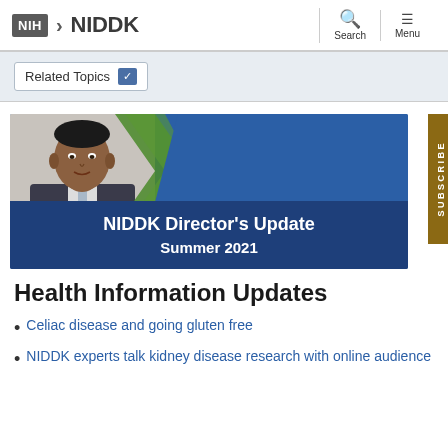NIH NIDDK | Search | Menu
Related Topics
[Figure (illustration): NIDDK Director's Update Summer 2021 banner with photo of a man in a suit and a green chevron design on blue background. A gold 'SUBSCRIBE' tab appears on the right side.]
Health Information Updates
Celiac disease and going gluten free
NIDDK experts talk kidney disease research with online audience